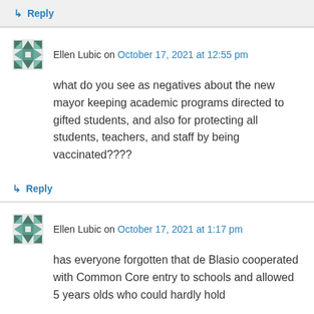↳ Reply
Ellen Lubic on October 17, 2021 at 12:55 pm
what do you see as negatives about the new mayor keeping academic programs directed to gifted students, and also for protecting all students, teachers, and staff by being vaccinated????
↳ Reply
Ellen Lubic on October 17, 2021 at 1:17 pm
has everyone forgotten that de Blasio cooperated with Common Core entry to schools and allowed 5 years olds who could hardly hold